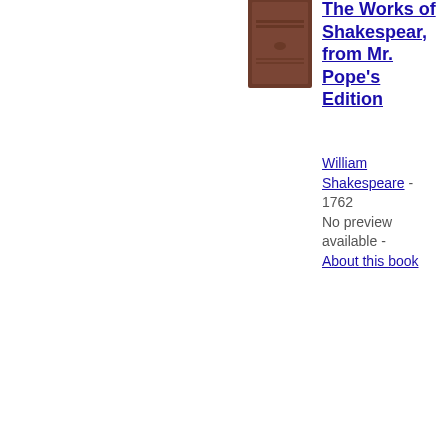[Figure (illustration): Book cover thumbnail for The Works of Shakespear, from Mr. Pope's Edition - brown hardcover]
The Works of Shakespear, from Mr. Pope's Edition
William Shakespeare - 1762
No preview available - About this book
[Figure (illustration): Book cover thumbnail for The Works of Shakespear, from Mr. Pope's Edition - brown hardcover]
The Works of Shakespear, from Mr. Pope's Edition
William Shakespeare - English drama (Comedy) - 1762
No preview available -